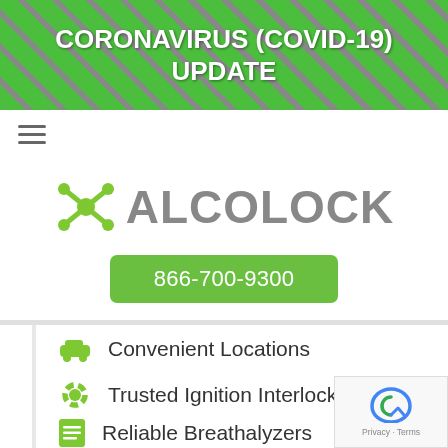CORONAVIRUS (COVID-19) UPDATE
[Figure (logo): Alcolock logo with green molecular icon and gray ALCOLOCK text, green phone button with 866-700-9300]
Convenient Locations
Trusted Ignition Interlocks
Reliable Breathalyzers